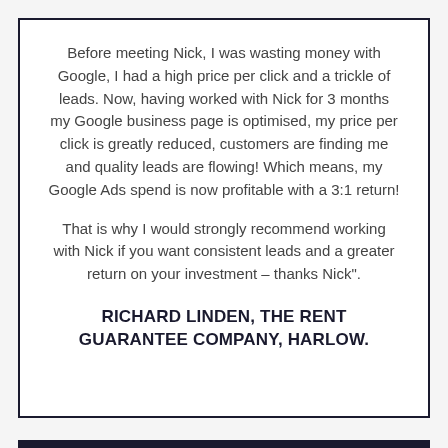Before meeting Nick, I was wasting money with Google, I had a high price per click and a trickle of leads. Now, having worked with Nick for 3 months my Google business page is optimised, my price per click is greatly reduced, customers are finding me and quality leads are flowing! Which means, my Google Ads spend is now profitable with a 3:1 return!
That is why I would strongly recommend working with Nick if you want consistent leads and a greater return on your investment – thanks Nick".
RICHARD LINDEN, THE RENT GUARANTEE COMPANY, HARLOW.